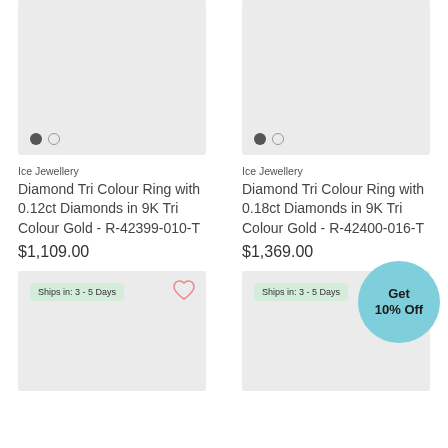[Figure (photo): Product image placeholder for Diamond Tri Colour Ring with 0.12ct Diamonds - light grey box with two dots indicator at bottom left]
[Figure (photo): Product image placeholder for Diamond Tri Colour Ring with 0.18ct Diamonds - light grey box with two dots indicator at bottom left]
Ice Jewellery
Diamond Tri Colour Ring with 0.12ct Diamonds in 9K Tri Colour Gold - R-42399-010-T
$1,109.00
Ice Jewellery
Diamond Tri Colour Ring with 0.18ct Diamonds in 9K Tri Colour Gold - R-42400-016-T
$1,369.00
[Figure (photo): Bottom left product image placeholder - light grey box with Ships in: 3 - 5 Days badge and heart icon]
[Figure (photo): Bottom right product image placeholder - light grey box with Ships in: 3 - 5 Days badge and Get 10% Off circle promotion overlay]